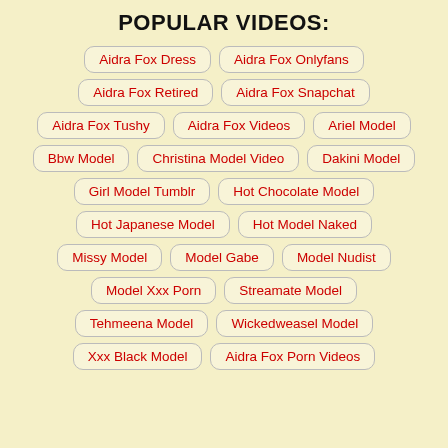POPULAR VIDEOS:
Aidra Fox Dress
Aidra Fox Onlyfans
Aidra Fox Retired
Aidra Fox Snapchat
Aidra Fox Tushy
Aidra Fox Videos
Ariel Model
Bbw Model
Christina Model Video
Dakini Model
Girl Model Tumblr
Hot Chocolate Model
Hot Japanese Model
Hot Model Naked
Missy Model
Model Gabe
Model Nudist
Model Xxx Porn
Streamate Model
Tehmeena Model
Wickedweasel Model
Xxx Black Model
Aidra Fox Porn Videos